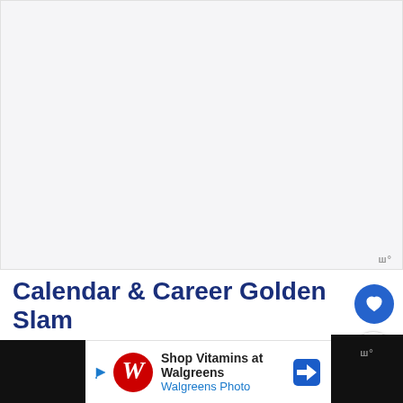[Figure (photo): Large image area, appears light gray/blank - top portion of a web article page]
Calendar & Career Golden Slam
Remarkably, only one player has completed
[Figure (other): Walgreens advertisement banner: Shop Vitamins at Walgreens / Walgreens Photo with Walgreens logo and navigation arrow icon]